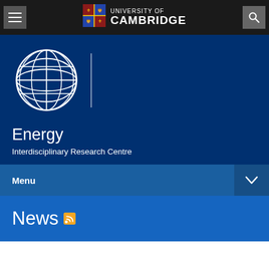University of Cambridge
[Figure (logo): Globe/world icon with grid lines (white on dark blue), vertical divider line]
Energy
Interdisciplinary Research Centre
Menu
News